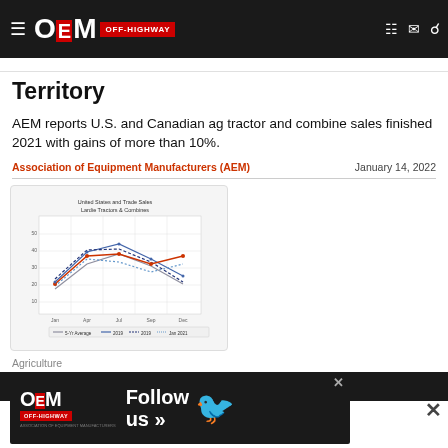OEM OFF-HIGHWAY
Territory
AEM reports U.S. and Canadian ag tractor and combine sales finished 2021 with gains of more than 10%.
Association of Equipment Manufacturers (AEM)    January 14, 2022
[Figure (line-chart): Multi-series line chart showing US tractor and combine sales trends over time (months), with multiple overlapping lines representing different years/averages including 5-Yr Average, 2019, 2019, Jan 2020, Jan 2021]
Agriculture
AEM U.
AEM has released its Ag. Tractor and Combine Report for